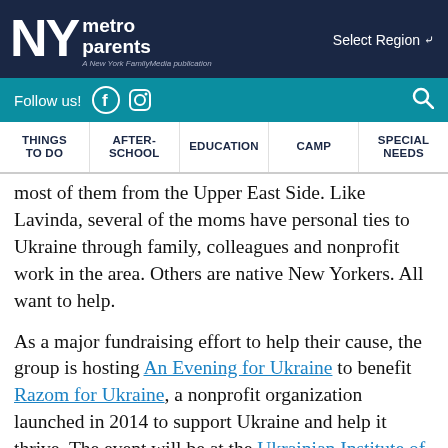NY metro parents — A New York FamilyMedia publication | Select Region
Follow us! [Facebook] [Instagram] [Search]
THINGS TO DO | AFTER-SCHOOL | EDUCATION | CAMP | SPECIAL NEEDS
most of them from the Upper East Side. Like Lavinda, several of the moms have personal ties to Ukraine through family, colleagues and nonprofit work in the area. Others are native New Yorkers. All want to help.
As a major fundraising effort to help their cause, the group is hosting An Evening for Ukraine to benefit Razom for Ukraine, a nonprofit organization launched in 2014 to support Ukraine and help it thrive. The event will be at the Ukrainian Institute of America on April 12, with 100% of the proceeds going to Razom's work to provide aid for displaced families, medical supplies and